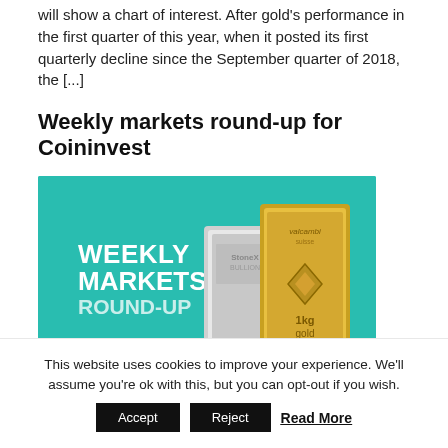will show a chart of interest. After gold's performance in the first quarter of this year, when it posted its first quarterly decline since the September quarter of 2018, the [...]
Weekly markets round-up for Coininvest
[Figure (illustration): Promotional banner with teal background showing 'WEEKLY MARKETS ROUND-UP' text in white on the left, and images of a StoneX Bullion silver bar and a Valcambi Suisse 1kg gold bar on the right.]
This website uses cookies to improve your experience. We'll assume you're ok with this, but you can opt-out if you wish.